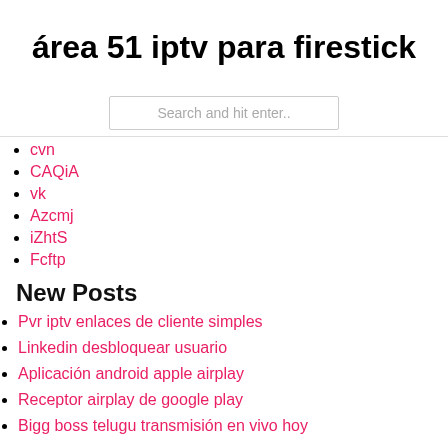área 51 iptv para firestick
Search and hit enter..
cvn
CAQiA
vk
Azcmj
iZhtS
Fcftp
New Posts
Pvr iptv enlaces de cliente simples
Linkedin desbloquear usuario
Aplicación android apple airplay
Receptor airplay de google play
Bigg boss telugu transmisión en vivo hoy